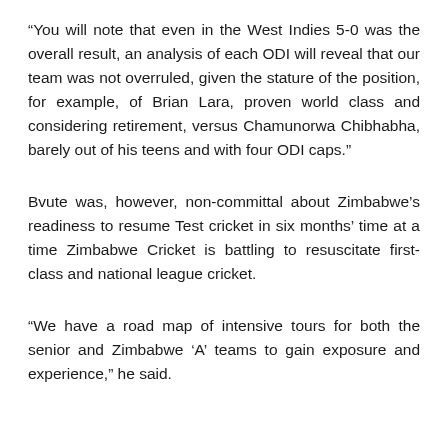“You will note that even in the West Indies 5-0 was the overall result, an analysis of each ODI will reveal that our team was not overruled, given the stature of the position, for example, of Brian Lara, proven world class and considering retirement, versus Chamunorwa Chibhabha, barely out of his teens and with four ODI caps.”
Bvute was, however, non-committal about Zimbabwe’s readiness to resume Test cricket in six months’ time at a time Zimbabwe Cricket is battling to resuscitate first-class and national league cricket.
“We have a road map of intensive tours for both the senior and Zimbabwe ‘A’ teams to gain exposure and experience,” he said.